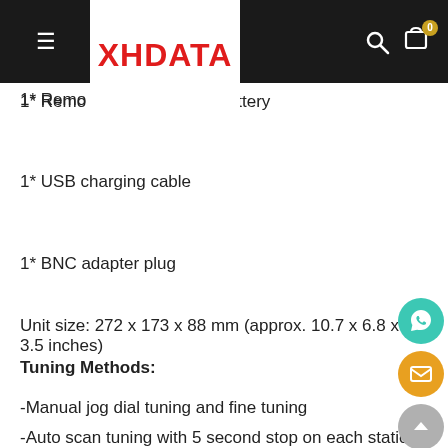XHDATA
1* Remote control + battery
1* USB charging cable
1* BNC adapter plug
Unit size: 272 x 173 x 88 mm (approx. 10.7 x 6.8 x 3.5 inches)
Tuning Methods:
-Manual jog dial tuning and fine tuning
-Auto scan tuning with 5 second stop on each station